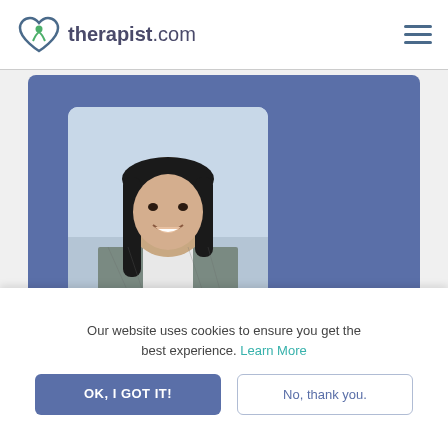therapist.com
[Figure (photo): Profile photo of Jasmin Torres, a woman with long dark hair wearing a plaid blazer, smiling, on a light blue-gray background]
Jasmin Torres, LMHC
Our website uses cookies to ensure you get the best experience. Learn More
OK, I GOT IT!
No, thank you.